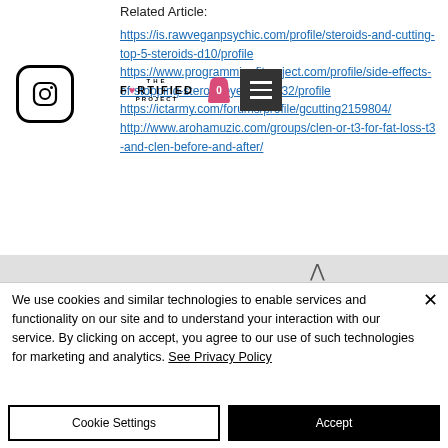Related Article:
https://is.rawveganpsychic.com/profile/steroids-and-cutting-top-5-steroids-d10/profile https://www.programmingfitproject.com/profile/side-effects-of-stopping-steroid-eye-dro-7432/profile https://ictarmy.com/forums/profile/gcutting2159804/ http://www.arohamuzic.com/groups/clen-or-t3-for-fat-loss-t3-and-clen-before-and-after/
We use cookies and similar technologies to enable services and functionality on our site and to understand your interaction with our service. By clicking on accept, you agree to our use of such technologies for marketing and analytics. See Privacy Policy